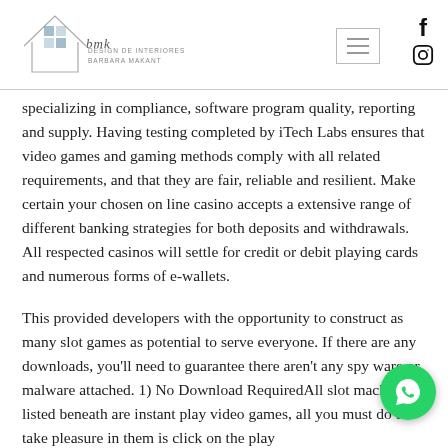[Figure (logo): BMK Design de Interiores Barbara Makant logo with house outline and handwritten signature]
specializing in compliance, software program quality, reporting and supply. Having testing completed by iTech Labs ensures that video games and gaming methods comply with all related requirements, and that they are fair, reliable and resilient. Make certain your chosen on line casino accepts a extensive range of different banking strategies for both deposits and withdrawals. All respected casinos will settle for credit or debit playing cards and numerous forms of e-wallets.
This provided developers with the opportunity to construct as many slot games as potential to serve everyone. If there are any downloads, you'll need to guarantee there aren't any spy ware or malware attached. 1) No Download RequiredAll slot machines listed beneath are instant play video games, all you must do to take pleasure in them is click on the play